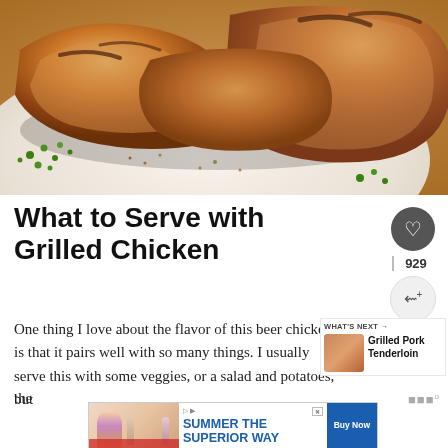[Figure (photo): Grilled chicken pieces on a white plate garnished with fresh parsley and spices, shot from above on a warm wooden background]
What to Serve with Grilled Chicken
929
One thing I love about the flavor of this beer chicken is that it pairs well with so many things. I usually serve this with some veggies, or a salad and potatoes, but the
[Figure (photo): WHAT'S NEXT → Grilled Pork Tenderloin thumbnail widget]
[Figure (photo): Advertisement: SUMMER THE SUPERIOR WAY banner ad with person holding bottle and Buy Now button]